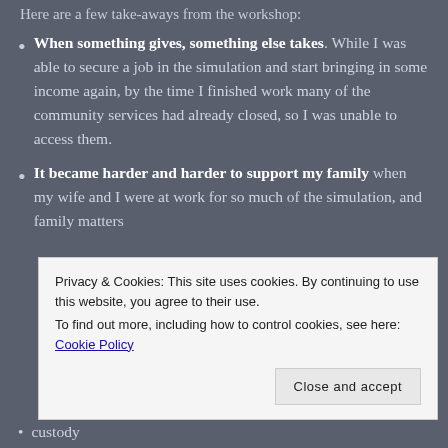Here are a few take-aways from the workshop:
When something gives, something else takes. While I was able to secure a job in the simulation and start bringing in some income again, by the time I finished work many of the community services had already closed, so I was unable to access them.
It became harder and harder to support my family when my wife and I were at work for so much of the simulation, and family matters
Privacy & Cookies: This site uses cookies. By continuing to use this website, you agree to their use.
To find out more, including how to control cookies, see here: Cookie Policy
custody